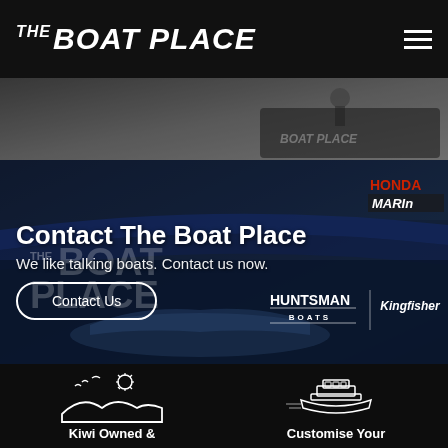THE BOAT PLACE
[Figure (photo): Partial photo of a boat or equipment at the top hero strip]
[Figure (photo): The Boat Place building exterior with blue roof, showing Huntsman Boats and Kingfisher logos and Honda Marine signage. Overlaid with hero text.]
Contact The Boat Place
We like talking boats. Contact us now.
Contact Us
[Figure (illustration): Kiwi Owned icon - seagulls, sun, and landscape outline in white]
Kiwi Owned &
[Figure (illustration): Customise Your icon - boat outline in white]
Customise Your